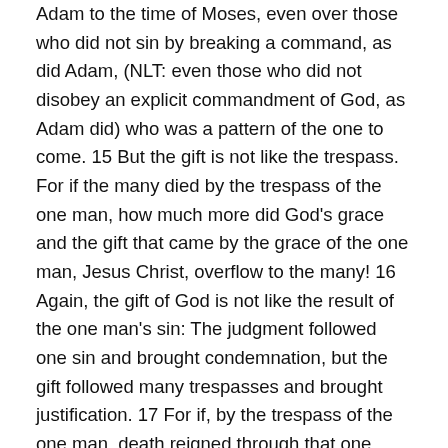Adam to the time of Moses, even over those who did not sin by breaking a command, as did Adam, (NLT: even those who did not disobey an explicit commandment of God, as Adam did) who was a pattern of the one to come. 15 But the gift is not like the trespass. For if the many died by the trespass of the one man, how much more did God's grace and the gift that came by the grace of the one man, Jesus Christ, overflow to the many! 16 Again, the gift of God is not like the result of the one man's sin: The judgment followed one sin and brought condemnation, but the gift followed many trespasses and brought justification. 17 For if, by the trespass of the one man, death reigned through that one man, how much more will those who receive God's abundant provision of grace and of the gift of righteousness reign in life through the one man, Jesus Christ. 18 Consequently, just as the result of one trespass was condemnation for all men, so also the result of one